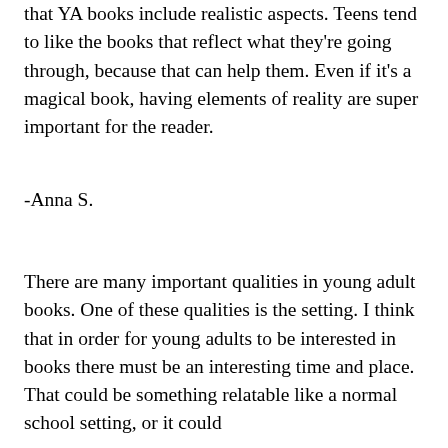that YA books include realistic aspects. Teens tend to like the books that reflect what they're going through, because that can help them. Even if it's a magical book, having elements of reality are super important for the reader.
-Anna S.
There are many important qualities in young adult books. One of these qualities is the setting. I think that in order for young adults to be interested in books there must be an interesting time and place. That could be something relatable like a normal school setting, or it could